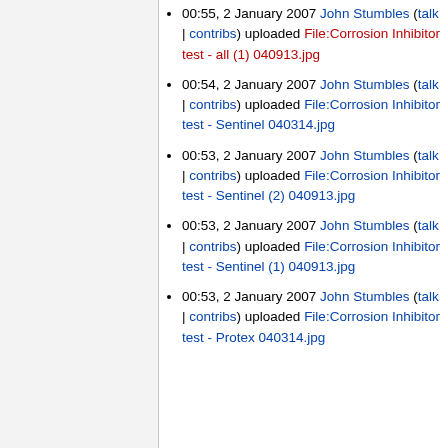00:55, 2 January 2007 John Stumbles (talk | contribs) uploaded File:Corrosion Inhibitor test - all (1) 040913.jpg
00:54, 2 January 2007 John Stumbles (talk | contribs) uploaded File:Corrosion Inhibitor test - Sentinel 040314.jpg
00:53, 2 January 2007 John Stumbles (talk | contribs) uploaded File:Corrosion Inhibitor test - Sentinel (2) 040913.jpg
00:53, 2 January 2007 John Stumbles (talk | contribs) uploaded File:Corrosion Inhibitor test - Sentinel (1) 040913.jpg
00:53, 2 January 2007 John Stumbles (talk | contribs) uploaded File:Corrosion Inhibitor test - Protex 040314.jpg